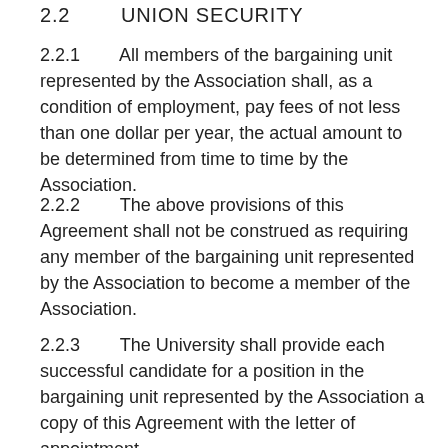2.2        UNION SECURITY
2.2.1        All members of the bargaining unit represented by the Association shall, as a condition of employment, pay fees of not less than one dollar per year, the actual amount to be determined from time to time by the Association.
2.2.2        The above provisions of this Agreement shall not be construed as requiring any member of the bargaining unit represented by the Association to become a member of the Association.
2.2.3        The University shall provide each successful candidate for a position in the bargaining unit represented by the Association a copy of this Agreement with the letter of appointment.